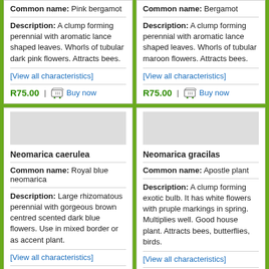Common name: Pink bergamot
Description: A clump forming perennial with aromatic lance shaped leaves. Whorls of tubular dark pink flowers. Attracts bees.
[View all characteristics]
R75.00 | Buy now
Common name: Bergamot
Description: A clump forming perennial with aromatic lance shaped leaves. Whorls of tubular maroon flowers. Attracts bees.
[View all characteristics]
R75.00 | Buy now
[Figure (photo): Product image placeholder for Neomarica caerulea]
Neomarica caerulea
Common name: Royal blue neomarica
Description: Large rhizomatous perennial with gorgeous brown centred scented dark blue flowers. Use in mixed border or as accent plant.
[View all characteristics]
R120.00 | Buy now
[Figure (photo): Product image placeholder for Neomarica gracilas]
Neomarica gracilas
Common name: Apostle plant
Description: A clump forming exotic bulb. It has white flowers with pruple markings in spring. Multiplies well. Good house plant. Attracts bees, butterflies, birds.
[View all characteristics]
R60.00 | Buy now